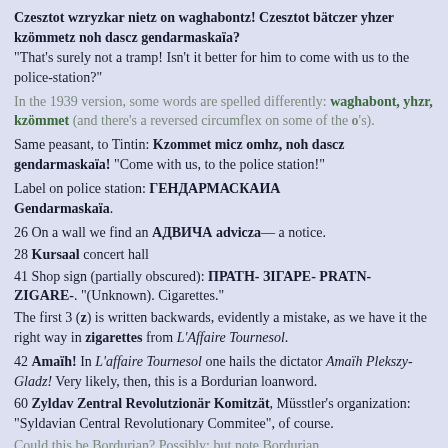Czesztot wzryzkar nietz on waghabontz! Czesztot bätczer yhzer kzömmetz noh dascz gendarmaskaïa? "That's surely not a tramp! Isn't it better for him to come with us to the police-station?"
In the 1939 version, some words are spelled differently: waghabont, yhzr, kzömmet (and there's a reversed circumflex on some of the o's).
Same peasant, to Tintin: Kzommet micz omhz, noh dascz gendarmaskaïa! "Come with us, to the police station!"
Label on police station: ГЕНДАРМАСКАИА Gendarmaskaïa.
26 On a wall we find an АДВИЧА advicza— a notice.
28 Kursaal concert hall
41 Shop sign (partially obscured): ПРАТН- ЗIГАРЕ- PRATN- ZIGARE-. "(Unknown). Cigarettes."
The first 3 (z) is written backwards, evidently a mistake, as we have it the right way in zigarettes from L'Affaire Tournesol.
42 Amaïh! In L'affaire Tournesol one hails the dictator Amaïh Plekszy-Gladz! Very likely, then, this is a Bordurian loanword.
60 Zyldav Zentral Revolutzionär Komitzät, Müsstler's organization: "Syldavian Central Revolutionary Commitee", of course.
Could this be Bordurian? Possibly; but note Bordurian